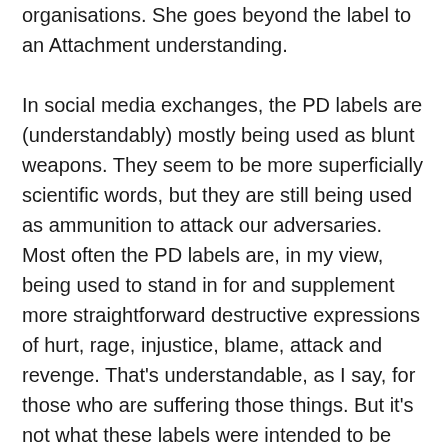organisations. She goes beyond the label to an Attachment understanding.
In social media exchanges, the PD labels are (understandably) mostly being used as blunt weapons. They seem to be more superficially scientific words, but they are still being used as ammunition to attack our adversaries. Most often the PD labels are, in my view, being used to stand in for and supplement more straightforward destructive expressions of hurt, rage, injustice, blame, attack and revenge. That's understandable, as I say, for those who are suffering those things. But it's not what these labels were intended to be used for.
The PD labels don't (in themselves) have any power that I know of (in a UK context) in